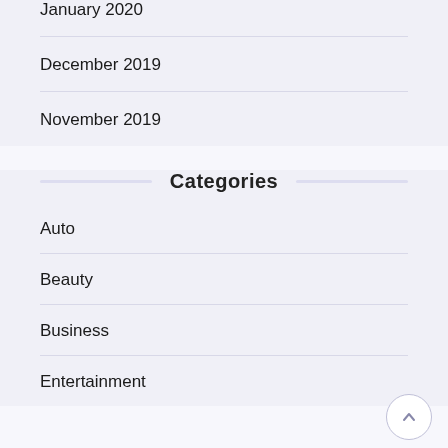January 2020
December 2019
November 2019
Categories
Auto
Beauty
Business
Entertainment